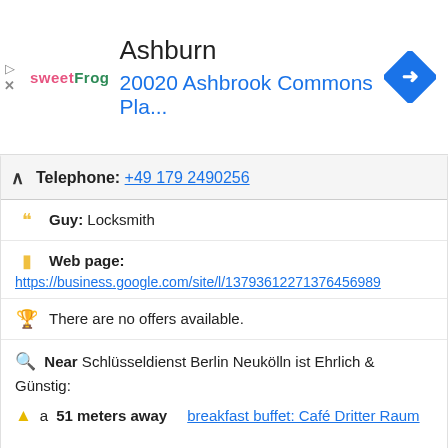[Figure (screenshot): SweetFrog ad banner with text 'Ashburn' and '20020 Ashbrook Commons Pla...' with navigation arrow icon]
Telephone: +49 179 2490256
Guy: Locksmith
Web page:
https://business.google.com/site/l/13793612271376456989
There are no offers available.
Near Schlüsseldienst Berlin Neukölln ist Ehrlich & Günstig:
a 51 meters away breakfast buffet: Café Dritter Raum
a 65 meters away indoor mini golf in: Hertzberg Golf
a 72 meters away manicure pedicure places in: Effy Nails - Private Studio
Are you the owner of the business? PROMOTE